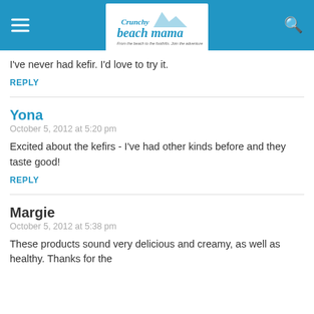[Figure (logo): Crunchy Beach Mama blog logo with mountains and tagline 'From the beach to the foothills. Join the adventure!']
I've never had kefir. I'd love to try it.
REPLY
Yona
October 5, 2012 at 5:20 pm
Excited about the kefirs - I've had other kinds before and they taste good!
REPLY
Margie
October 5, 2012 at 5:38 pm
These products sound very delicious and creamy, as well as healthy. Thanks for the